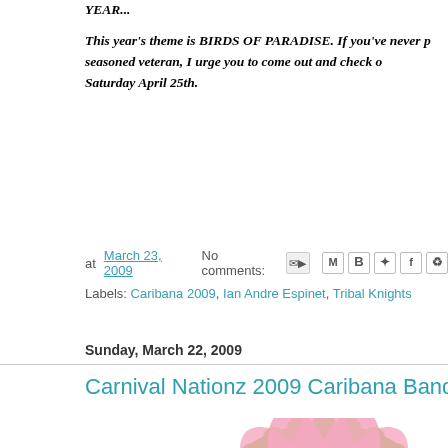YEAR...
This year's theme is BIRDS OF PARADISE. If you've never p... seasoned veteran, I urge you to come out and check o... Saturday April 25th.
at March 23, 2009   No comments:
Labels: Caribana 2009, Ian Andre Espinet, Tribal Knights
Sunday, March 22, 2009
Carnival Nationz 2009 Caribana Band Lau...
[Figure (illustration): Carnival Nationz 2009 Caribana Band Launch flyer with green scalloped border, pink tropical flower, and text reading 'May 2nd 2009 In The Solarium @ Poison Pier']